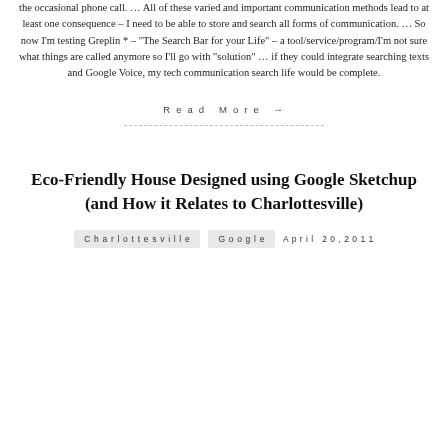the occasional phone call. … All of these varied and important communication methods lead to at least one consequence – I need to be able to store and search all forms of communication. … So now I'm testing Greplin * – "The Search Bar for your Life" – a tool/service/program/I'm not sure what things are called anymore so I'll go with "solution" … if they could integrate searching texts and Google Voice, my tech communication search life would be complete.
Read More →
Eco-Friendly House Designed using Google Sketchup (and How it Relates to Charlottesville)
Charlottesville   Google   April 20, 2011